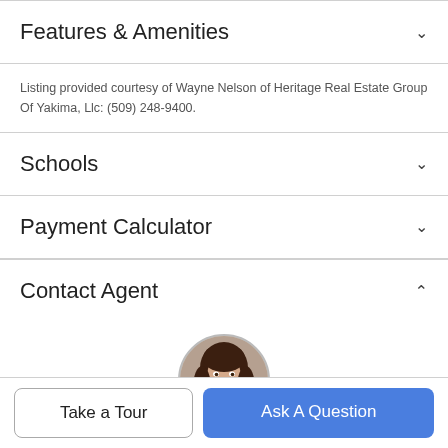Features & Amenities
Listing provided courtesy of Wayne Nelson of Heritage Real Estate Group Of Yakima, Llc: (509) 248-9400.
Schools
Payment Calculator
Contact Agent
[Figure (photo): Circular portrait photo of a female real estate agent with long brown hair, smiling]
Take a Tour
Ask A Question